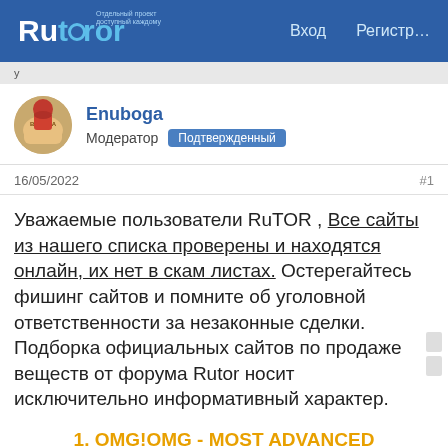Rutor — Вход — Регистр…
Enuboga
Модератор  Подтвержденный
16/05/2022	#1
Уважаемые пользователи RuTOR , Все сайты из нашего списка проверены и находятся онлайн, их нет в скам листах. Остерегайтесь фишинг сайтов и помните об уголовной ответственности за незаконные сделки. Подборка официальных сайтов по продаже веществ от форума Rutor носит исключительно информативный характер.
1. OMG!OMG - MOST ADVANCED DARKMARKET